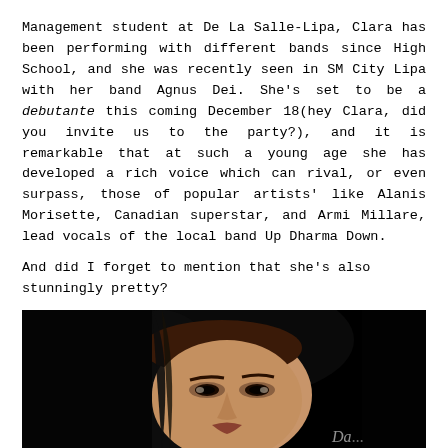Management student at De La Salle-Lipa, Clara has been performing with different bands since High School, and she was recently seen in SM City Lipa with her band Agnus Dei. She's set to be a debutante this coming December 18(hey Clara, did you invite us to the party?), and it is remarkable that at such a young age she has developed a rich voice which can rival, or even surpass, those of popular artists' like Alanis Morisette, Canadian superstar, and Armi Millare, lead vocals of the local band Up Dharma Down.
And did I forget to mention that she's also stunningly pretty?
[Figure (photo): Close-up portrait photo of a young woman with dark hair against a black background, looking slightly upward. Partial text visible at bottom right.]